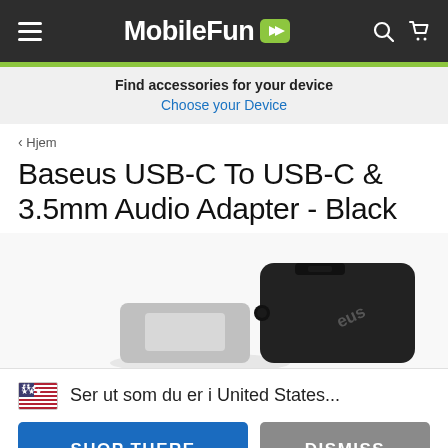MobileFun
Find accessories for your device
Choose your Device
‹ Hjem
Baseus USB-C To USB-C & 3.5mm Audio Adapter - Black
[Figure (photo): Product photo of Baseus USB-C to USB-C & 3.5mm audio adapter in black color, partially cropped at bottom]
🇺🇸 Ser ut som du er i United States...
SHOP THERE
DISMISS